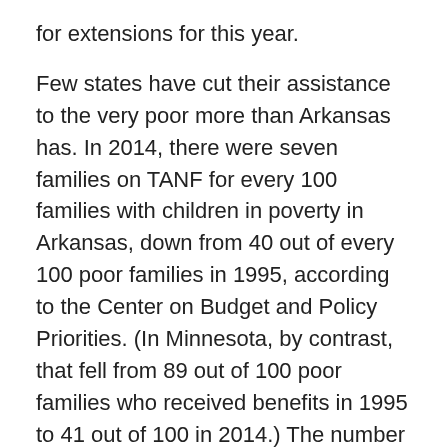for extensions for this year.
Few states have cut their assistance to the very poor more than Arkansas has. In 2014, there were seven families on TANF for every 100 families with children in poverty in Arkansas, down from 40 out of every 100 poor families in 1995, according to the Center on Budget and Policy Priorities. (In Minnesota, by contrast, that fell from 89 out of 100 poor families who received benefits in 1995 to 41 out of 100 in 2014.) The number of welfare recipients in Arkansas dropped to just 9,901 in September of 2015, from more than 63,000 in 1995. And a single-parent family of three receives just $204 a month from the state of Arkansas, one of the lowest cash benefits in the nation. Arkansas hasn't quite gotten rid of its safety net entirely, but it's gone as far toward that end as any place in modern America. And it may go further yet.